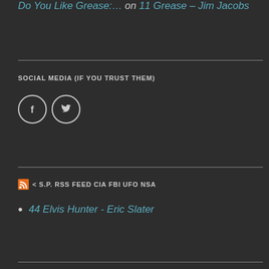Do You Like Grease:… on 11 Grease – Jim Jacobs
SOCIAL MEDIA (IF YOU TRUST THEM)
[Figure (infographic): Facebook and Twitter social media icon buttons (circular outlined icons with Facebook 'f' and Twitter bird logos)]
< S.P. RSS FEED CIA FBI UFO NSA
44 Elvis Hunter - Eric Slater